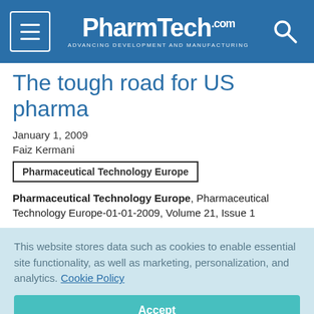PharmTech.com — ADVANCING DEVELOPMENT AND MANUFACTURING
The tough road for US pharma
January 1, 2009
Faiz Kermani
Pharmaceutical Technology Europe
Pharmaceutical Technology Europe, Pharmaceutical Technology Europe-01-01-2009, Volume 21, Issue 1
This website stores data such as cookies to enable essential site functionality, as well as marketing, personalization, and analytics. Cookie Policy
Accept
Deny